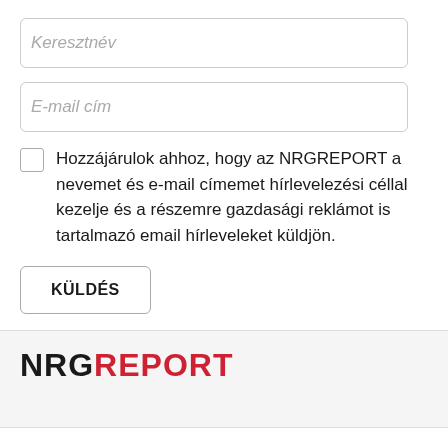Keresztnév
E-mail cím
Hozzájárulok ahhoz, hogy az NRGREPORT a nevemet és e-mail címemet hírlevelezési céllal kezelje és a részemre gazdasági reklámot is tartalmazó email hírleveleket küldjön.
KÜLDÉS
[Figure (logo): NRGREPORT logo with NRG in black and REPORT in red, large bold uppercase letters]
Weboldalunk cookie-kat használ a felhasználói élmény javítása érdekében.
Részletek
Rendben